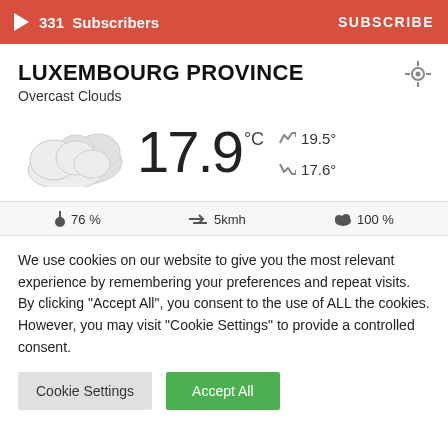331 Subscribers | SUBSCRIBE
LUXEMBOURG PROVINCE
Overcast Clouds
[Figure (illustration): Cloud icon representing overcast weather]
17.9 °C
19.5° (high) / 17.6° (low)
76 %   5kmh   100 %
We use cookies on our website to give you the most relevant experience by remembering your preferences and repeat visits. By clicking "Accept All", you consent to the use of ALL the cookies. However, you may visit "Cookie Settings" to provide a controlled consent.
Cookie Settings | Accept All